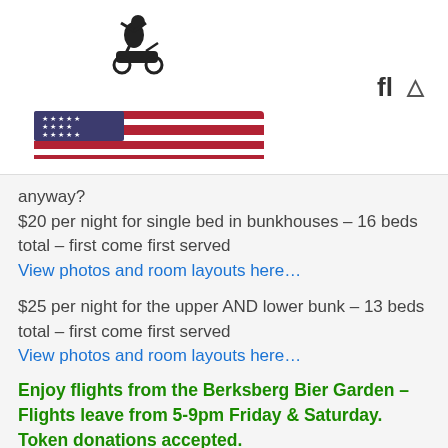Berkshire Trail Riders logo with American flag and motorcycle rider icon
anyway?
$20 per night for single bed in bunkhouses – 16 beds total – first come first served
View photos and room layouts here…
$25 per night for the upper AND lower bunk – 13 beds total – first come first served
View photos and room layouts here…
Enjoy flights from the Berksberg Bier Garden – Flights leave from 5-9pm Friday & Saturday. Token donations accepted.
Wet weather got you down? Come on inside and warm yourself by the wood stove while sharing your embellished stories of the day's adventure.